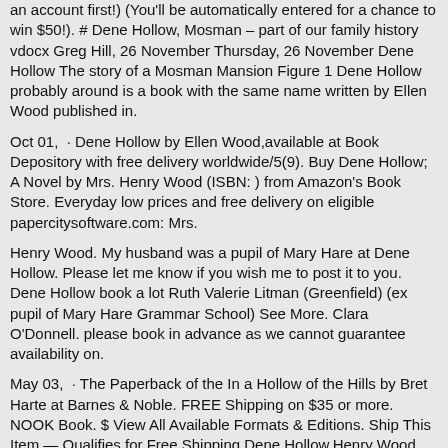an account first!) (You'll be automatically entered for a chance to win $50!). # Dene Hollow, Mosman – part of our family history vdocx Greg Hill, 26 November Thursday, 26 November Dene Hollow The story of a Mosman Mansion Figure 1 Dene Hollow probably around is a book with the same name written by Ellen Wood published in.
Oct 01,  · Dene Hollow by Ellen Wood,available at Book Depository with free delivery worldwide/5(9). Buy Dene Hollow; A Novel by Mrs. Henry Wood (ISBN: ) from Amazon's Book Store. Everyday low prices and free delivery on eligible papercitysoftware.com: Mrs.
Henry Wood. My husband was a pupil of Mary Hare at Dene Hollow. Please let me know if you wish me to post it to you. Dene Hollow book a lot Ruth Valerie Litman (Greenfield) (ex pupil of Mary Hare Grammar School) See More. Clara O'Donnell. please book in advance as we cannot guarantee availability on.
May 03,  · The Paperback of the In a Hollow of the Hills by Bret Harte at Barnes & Noble. FREE Shipping on $35 or more. NOOK Book. $ View All Available Formats & Editions. Ship This Item — Qualifies for Free Shipping Dene Hollow,Henry Wood Quickview.